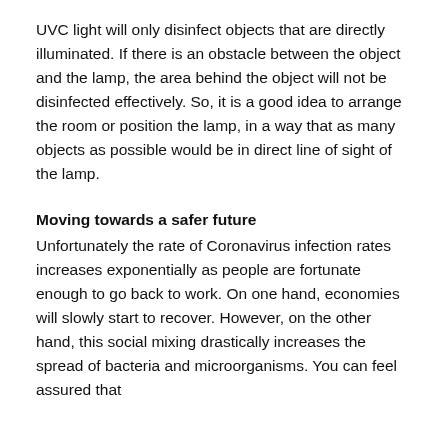UVC light will only disinfect objects that are directly illuminated. If there is an obstacle between the object and the lamp, the area behind the object will not be disinfected effectively. So, it is a good idea to arrange the room or position the lamp, in a way that as many objects as possible would be in direct line of sight of the lamp.
Moving towards a safer future
Unfortunately the rate of Coronavirus infection rates increases exponentially as people are fortunate enough to go back to work. On one hand, economies will slowly start to recover. However, on the other hand, this social mixing drastically increases the spread of bacteria and microorganisms. You can feel assured that